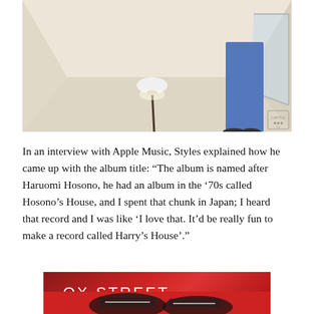[Figure (photo): A minimalist room with cream/beige walls and floor. A small ornate lamp sits in the center of the floor. On the right side, the lower half of a person wearing wide-leg blue jeans is visible, standing near a window. A small logo/watermark appears in the bottom right corner of the image.]
In an interview with Apple Music, Styles explained how he came up with the album title: “The album is named after Haruomi Hosono, he had an album in the ’70s called Hosono’s House, and I spent that chunk in Japan; I heard that record and I was like ‘I love that. It’d be really fun to make a record called Harry’s House’.”
[Figure (photo): Advertisement banner for OX STREET showing the brand name in white text with an underline on a red gradient background. Partial view of sneakers at the bottom.]